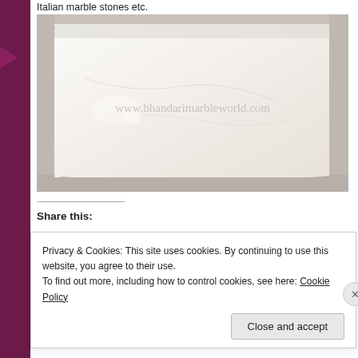Italian marble stones etc.
[Figure (photo): A large white marble slab leaning against a wall, with a watermark reading www.bhandarimarbleworld.com]
Share this:
Privacy & Cookies: This site uses cookies. By continuing to use this website, you agree to their use.
To find out more, including how to control cookies, see here: Cookie Policy
Close and accept